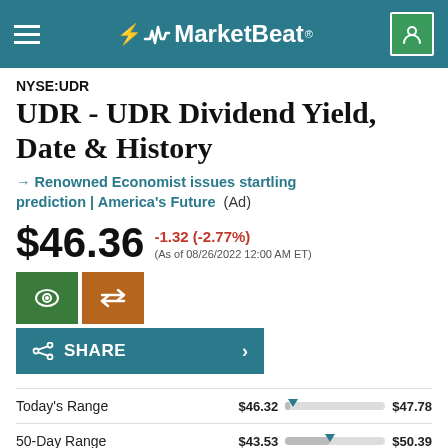MarketBeat
NYSE:UDR
UDR - UDR Dividend Yield, Date & History
→ Renowned Economist issues startling prediction | America's Future (Ad)
$46.36 -1.32 (-2.77%) (As of 08/26/2022 12:00 AM ET)
SHARE
Today's Range $46.32 $47.78
50-Day Range $43.53 $50.39